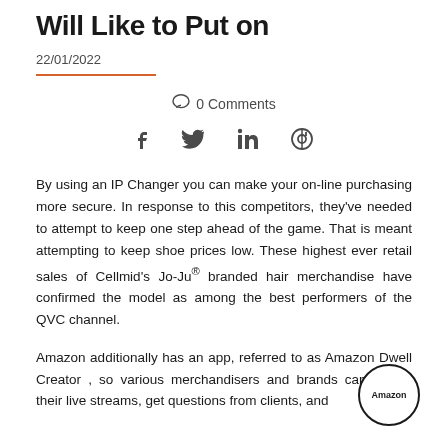Will Like to Put on
22/01/2022
0 Comments
By using an IP Changer you can make your on-line purchasing more secure. In response to this competitors, they've needed to attempt to keep one step ahead of the game. That is meant attempting to keep shoe prices low. These highest ever retail sales of Cellmid's Jo-Ju® branded hair merchandise have confirmed the model as among the best performers of the QVC channel.
Amazon additionally has an app, referred to as Amazon Dwell Creator , so various merchandisers and brands can record their live streams, get questions from clients, and